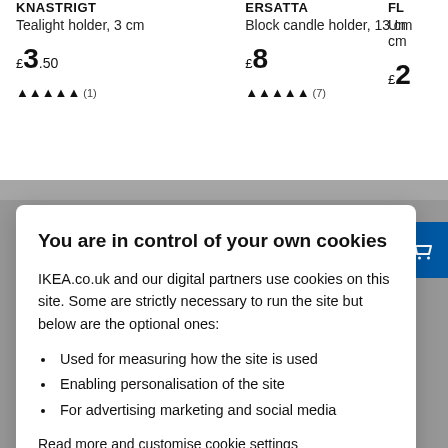KNASTRIGT
Tealight holder, 3 cm
£3.50
ERSATTA
Block candle holder, 13 cm
£8
£2
You are in control of your own cookies
IKEA.co.uk and our digital partners use cookies on this site. Some are strictly necessary to run the site but below are the optional ones:
Used for measuring how the site is used
Enabling personalisation of the site
For advertising marketing and social media
Read more and customise cookie settings
Accept All Cookies
Cookie Settings